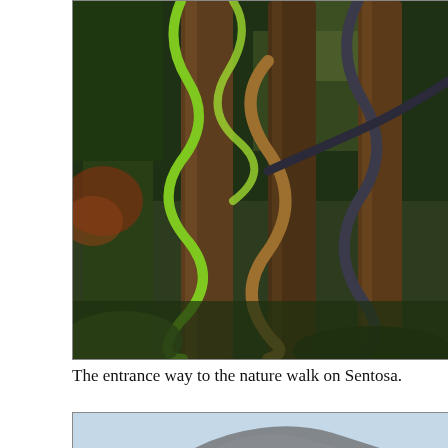[Figure (photo): Photograph of tree trunks with colorful serpentine vines or pipes (green, brown, dark) wrapped around them in a lush jungle/forest setting, representing the entrance to the nature walk on Sentosa.]
The entrance way to the nature walk on Sentosa.
[Figure (photo): Photograph showing the top portion of the Merlion statue on Sentosa against a pale blue sky. The large stone/concrete lion head is partially visible at the bottom of the frame.]